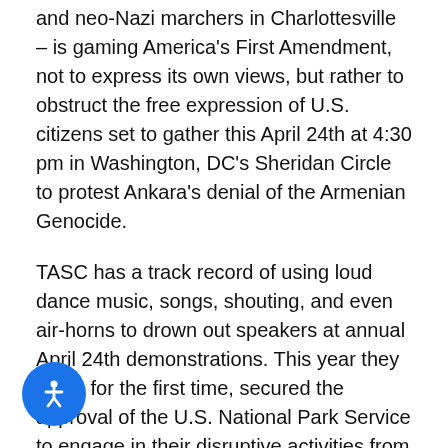and neo-Nazi marchers in Charlottesville – is gaming America's First Amendment, not to express its own views, but rather to obstruct the free expression of U.S. citizens set to gather this April 24th at 4:30 pm in Washington, DC's Sheridan Circle to protest Ankara's denial of the Armenian Genocide.
TASC has a track record of using loud dance music, songs, shouting, and even air-horns to drown out speakers at annual April 24th demonstrations. This year they have, for the first time, secured the approval of the U.S. National Park Service to engage in their disruptive activities from an area adjacent to the Armenian Genocide protest, within the actual confines of Sheridan Circle. This traffic circle, across the street from the Turkish Ambassador's residence, is infamous internationally as the site where, just two years ago, Turkish President Erdogan's bodyguards brutally beat peaceful American protesters.
[Figure (illustration): Blue circular accessibility button with a white person/wheelchair icon]